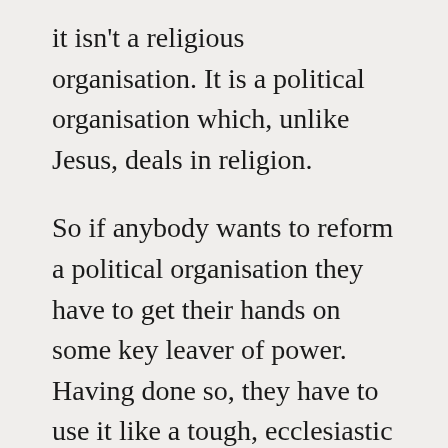it isn't a religious organisation. It is a political organisation which, unlike Jesus, deals in religion.

So if anybody wants to reform a political organisation they have to get their hands on some key leaver of power. Having done so, they have to use it like a tough, ecclesiastic politician, ruthlessly. That is totally alien to Church